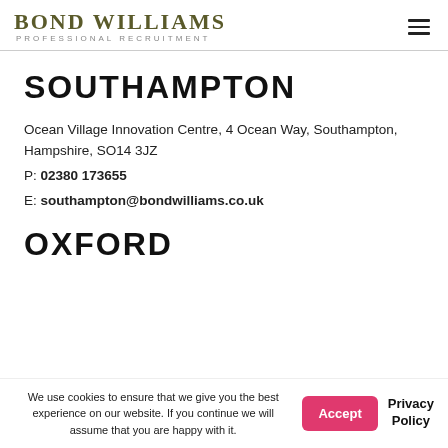BOND WILLIAMS PROFESSIONAL RECRUITMENT
SOUTHAMPTON
Ocean Village Innovation Centre, 4 Ocean Way, Southampton, Hampshire, SO14 3JZ
P: 02380 173655
E: southampton@bondwilliams.co.uk
OXFORD
We use cookies to ensure that we give you the best experience on our website. If you continue we will assume that you are happy with it.